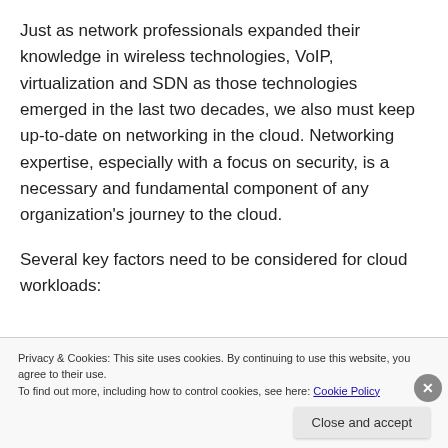Just as network professionals expanded their knowledge in wireless technologies, VoIP, virtualization and SDN as those technologies emerged in the last two decades, we also must keep up-to-date on networking in the cloud. Networking expertise, especially with a focus on security, is a necessary and fundamental component of any organization's journey to the cloud.
Several key factors need to be considered for cloud workloads:
Privacy & Cookies: This site uses cookies. By continuing to use this website, you agree to their use.
To find out more, including how to control cookies, see here: Cookie Policy